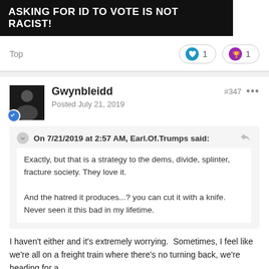[Figure (other): Black banner image with white bold text reading: ASKING FOR ID TO VOTE IS NOT RACIST!]
Top
♥ 1   🏆 1
Gwynbleidd
Posted July 21, 2019
#347   ...
On 7/21/2019 at 2:57 AM, Earl.Of.Trumps said:
Exactly, but that is a strategy to the dems, divide, splinter, fracture society. They love it.

And the hatred it produces...? you can cut it with a knife. Never seen it this bad in my lifetime.
I haven't either and it's extremely worrying.  Sometimes, I feel like we're all on a freight train where there's no turning back, we're heading for a